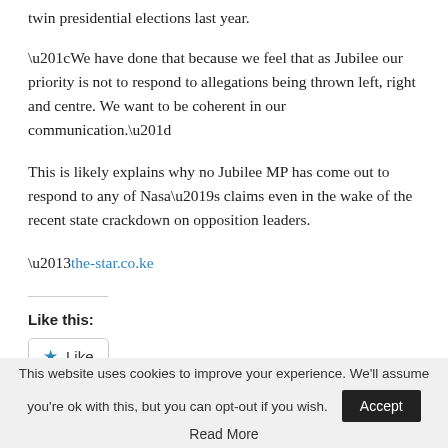twin presidential elections last year.
“We have done that because we feel that as Jubilee our priority is not to respond to allegations being thrown left, right and centre. We want to be coherent in our communication.”
This is likely explains why no Jubilee MP has come out to respond to any of Nasa’s claims even in the wake of the recent state crackdown on opposition leaders.
–the-star.co.ke
Like this:
[Figure (other): Like button widget with a blue star icon and the word Like inside a rounded rectangle button]
Be the first to like this.
This website uses cookies to improve your experience. We’ll assume you’re ok with this, but you can opt-out if you wish.  Accept  Read More